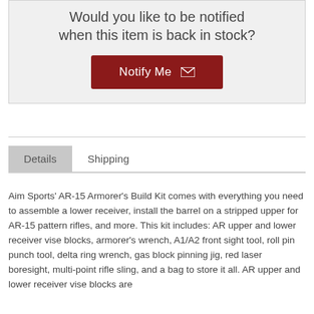Would you like to be notified when this item is back in stock?
Notify Me
Details   Shipping
Aim Sports' AR-15 Armorer's Build Kit comes with everything you need to assemble a lower receiver, install the barrel on a stripped upper for AR-15 pattern rifles, and more. This kit includes: AR upper and lower receiver vise blocks, armorer's wrench, A1/A2 front sight tool, roll pin punch tool, delta ring wrench, gas block pinning jig, red laser boresight, multi-point rifle sling, and a bag to store it all. AR upper and lower receiver vise blocks are